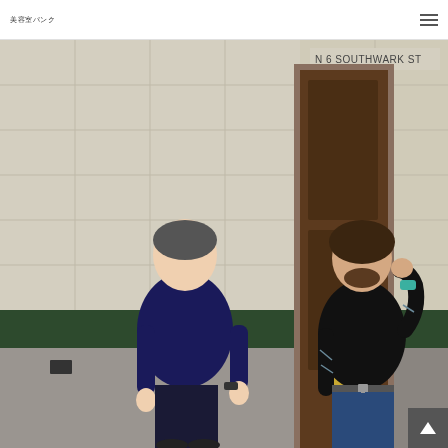美容室パンク
[Figure (photo): Two young men standing outside a building with tiled walls and a dark wooden door marked 'N 6 SOUTHWARK ST'. The man on the left wears a navy blue t-shirt and dark trousers. The man on the right wears a black t-shirt, has tattoos and a beard, and is holding his hand to his chin. A brass letter box is visible on the door.]